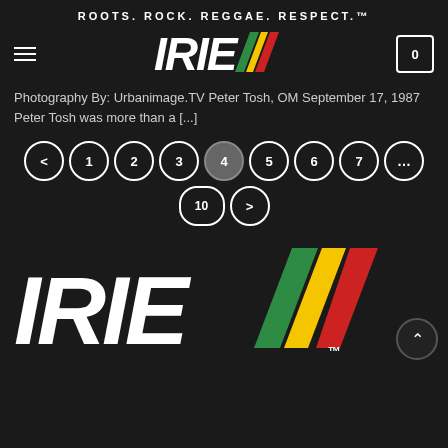ROOTS. ROCK. REGGAE. RESPECT.™
[Figure (logo): IRIE logo with italic white text and green, yellow, red diagonal stripes]
Photography By: Urbanimage.TV Peter Tosh, OM September 17, 1987 Peter Tosh was more than a [...]
Pagination: < 1 2 3 4 5 6 7 ... 10 >
[Figure (logo): Large IRIE logo with italic white bold text and green, yellow, red diagonal stripes with TM mark]